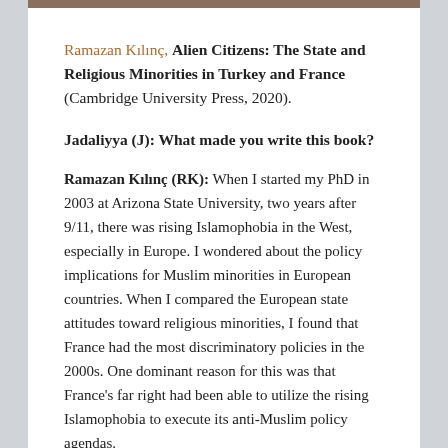Ramazan Kılınç, Alien Citizens: The State and Religious Minorities in Turkey and France (Cambridge University Press, 2020).
Jadaliyya (J): What made you write this book?
Ramazan Kılınç (RK): When I started my PhD in 2003 at Arizona State University, two years after 9/11, there was rising Islamophobia in the West, especially in Europe. I wondered about the policy implications for Muslim minorities in European countries. When I compared the European state attitudes toward religious minorities, I found that France had the most discriminatory policies in the 2000s. One dominant reason for this was that France's far right had been able to utilize the rising Islamophobia to execute its anti-Muslim policy agendas.